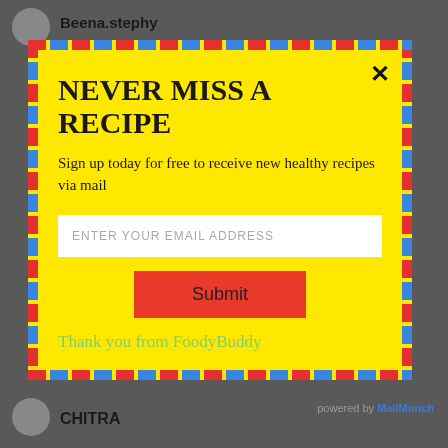Beena.stephy
NEVER MISS A RECIPE
Sign up today for free to receive new healthy recipes via mail
ENTER YOUR EMAIL ADDRESS
Submit
Thank you from FoodyBuddy
powered by MailMunch
CHITRA